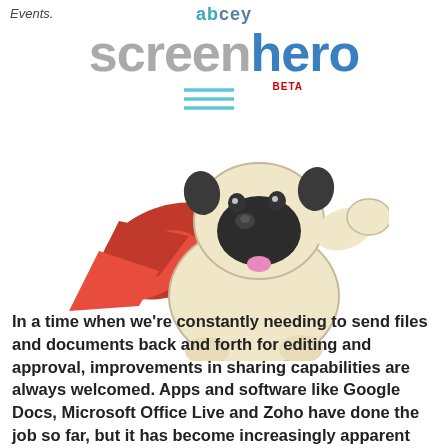Events.
[Figure (logo): abcey Screenhero BETA logo with horizontal lines and a cartoon superhero dog mascot wearing a red cape]
In a time when we’re constantly needing to send files and documents back and forth for editing and approval, improvements in sharing capabilities are always welcomed. Apps and software like Google Docs, Microsoft Office Live and Zoho have done the job so far, but it has become increasingly apparent